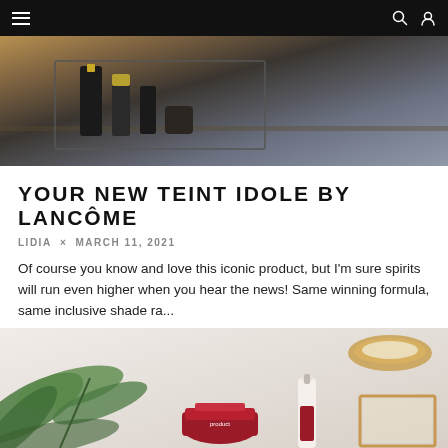Navigation bar with menu icon, search icon, and user icon
[Figure (photo): Hero image showing luxury cosmetic bottles and packaging with dark background, warm brown and grey tones]
YOUR NEW TEINT IDOLE BY LANCÔME
LIDIA × MARCH 11, 2021
Of course you know and love this iconic product, but I'm sure spirits will run even higher when you hear the news! Same winning formula, same inclusive shade ra...
HIPBEAUTY   NEWS   0 COMMENTS   ♡ 0
[Figure (photo): Flat lay beauty product photo showing skincare products with red/maroon packaging, green plant leaves, wooden bowl with salt or grains, and a wooden frame on a light background]